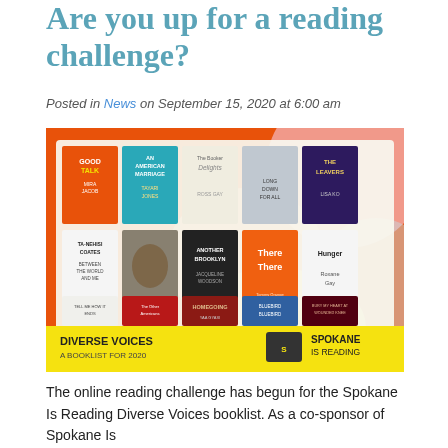Are you up for a reading challenge?
Posted in News on September 15, 2020 at 6:00 am
[Figure (illustration): Diverse Voices A Booklist for 2020 - Spokane Is Reading book collage with 15 book covers on colorful orange/pink background including Good Talk by Mira Jacob, An American Marriage by Tayari Jones, The Booker Delights by Ross Gay, There There by Tommy Orange, Homegoing by Yaa Gyasi, and more.]
The online reading challenge has begun for the Spokane Is Reading Diverse Voices booklist. As a co-sponsor of Spokane Is